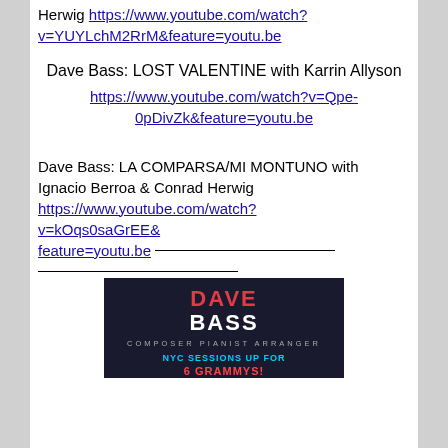Herwig https://www.youtube.com/watch?v=YUYLchM2RrM&feature=youtu.be
Dave Bass: LOST VALENTINE with Karrin Allyson
https://www.youtube.com/watch?v=Qpe-0pDivZk&feature=youtu.be
Dave Bass: LA COMPARSA/MI MONTUNO with Ignacio Berroa & Conrad Herwig https://www.youtube.com/watch?v=kOqs0saGrEE&feature=youtu.be
[Figure (photo): Dave Bass - Composer Pianist Arranger. NYC Sessions up for 6 Grammys! promotional image with dark background and colorful text.]